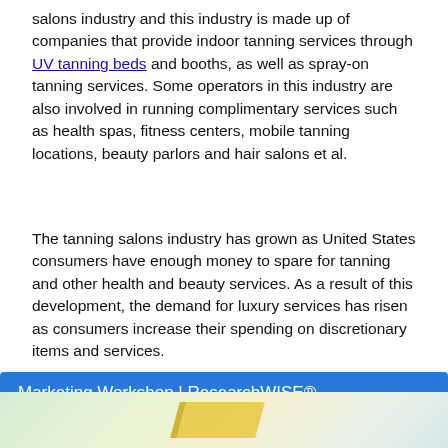salons industry and this industry is made up of companies that provide indoor tanning services through UV tanning beds and booths, as well as spray-on tanning services. Some operators in this industry are also involved in running complimentary services such as health spas, fitness centers, mobile tanning locations, beauty parlors and hair salons et al.
The tanning salons industry has grown as United States consumers have enough money to spare for tanning and other health and beauty services. As a result of this development, the demand for luxury services has risen as consumers increase their spending on discretionary items and services.
[Figure (other): Blue advertisement banner for Marketing Workshop | ResearchWISE® with text 'Marketing Workshop' and 'Contact Us For No Obligation Consultation And Quotes.' on blue background, with a map strip at the bottom.]